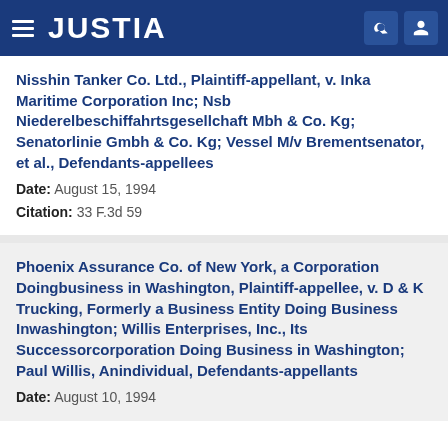JUSTIA
Nisshin Tanker Co. Ltd., Plaintiff-appellant, v. Inka Maritime Corporation Inc; Nsb Niederelbeschiffahrtsgesellchaft Mbh & Co. Kg; Senatorlinie Gmbh & Co. Kg; Vessel M/v Brementsenator, et al., Defendants-appellees
Date: August 15, 1994
Citation: 33 F.3d 59
Phoenix Assurance Co. of New York, a Corporation Doingbusiness in Washington, Plaintiff-appellee, v. D & K Trucking, Formerly a Business Entity Doing Business Inwashington; Willis Enterprises, Inc., Its Successorcorporation Doing Business in Washington; Paul Willis, Anindividual, Defendants-appellants
Date: August 10, 1994